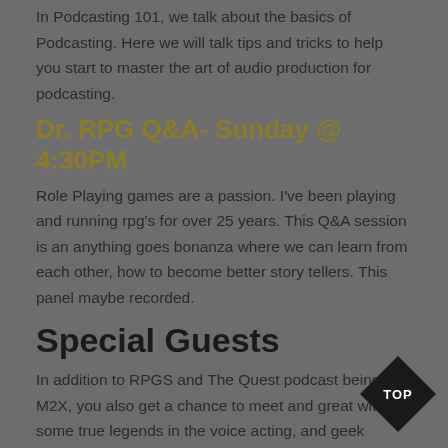In Podcasting 101, we talk about the basics of Podcasting. Here we will talk tips and tricks to help you start to master the art of audio production for podcasting.
Dr. RPG Q&A- Sunday @ 4:30PM
Role Playing games are a passion. I've been playing and running rpg's for over 25 years. This Q&A session is an anything goes bonanza where we can learn from each other, how to become better story tellers. This panel maybe recorded.
Special Guests
In addition to RPGS and The Quest podcast being at M2X, you also get a chance to meet and great with some true legends in the voice acting, and geek culture worlds, including: MC Chris, Billy West, Rob Paulsen, Maurice LaMarche, John St. John, and more!
[Figure (other): Black diamond/rhombus shaped badge with 'TOP' text in white]